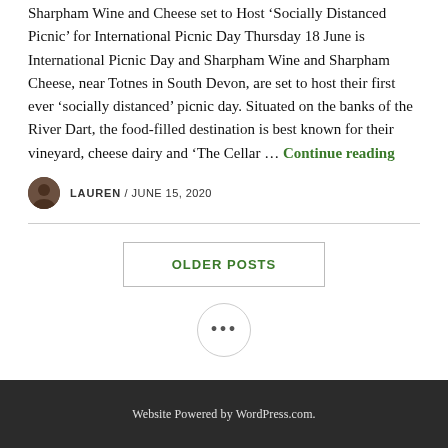Sharpham Wine and Cheese set to Host 'Socially Distanced Picnic' for International Picnic Day Thursday 18 June is International Picnic Day and Sharpham Wine and Sharpham Cheese, near Totnes in South Devon, are set to host their first ever 'socially distanced' picnic day. Situated on the banks of the River Dart, the food-filled destination is best known for their vineyard, cheese dairy and 'The Cellar … Continue reading
LAUREN / JUNE 15, 2020
OLDER POSTS
•••
Website Powered by WordPress.com.